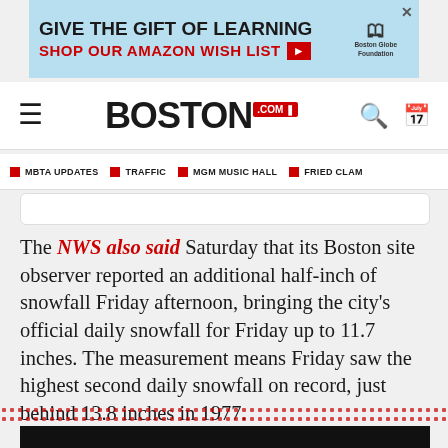[Figure (other): Advertisement banner: GIVE THE GIFT OF LEARNING / SHOP OUR AMAZON WISH LIST with Boston Globe Foundation logo]
BOSTON.com navigation bar with hamburger menu, Boston.com logo, search and calendar icons
MBTA UPDATES
TRAFFIC
MGM MUSIC HALL
FRIED CLAM
The NWS also said Saturday that its Boston site observer reported an additional half-inch of snowfall Friday afternoon, bringing the city's official daily snowfall for Friday up to 11.7 inches. The measurement means Friday saw the highest second daily snowfall on record, just behind 13.8 inches in 1977.